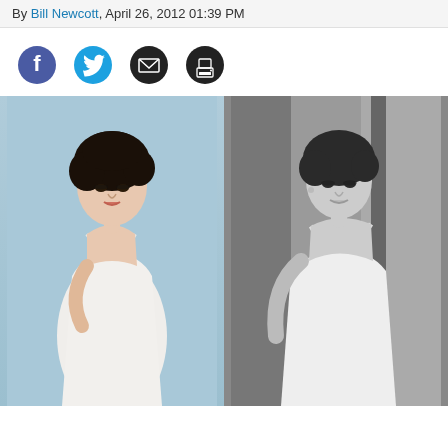By Bill Newcott, April 26, 2012 01:39 PM
[Figure (other): Social sharing icons row: Facebook (blue circle with f), Twitter (cyan circle with bird), Email (dark circle with envelope), Print (dark circle with printer)]
[Figure (photo): Side-by-side comparison photos: left photo shows a young dark-haired woman in a white slip dress against a light blue background; right black-and-white photo shows Elizabeth Taylor in a similar white slip dress leaning against a wall]